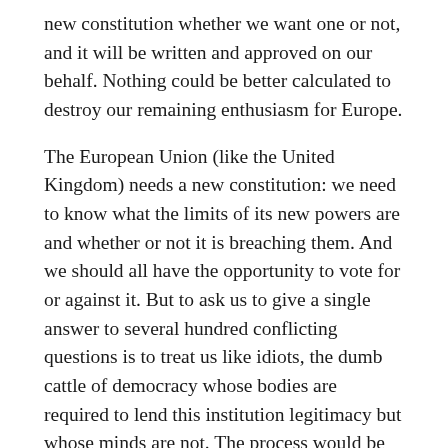new constitution whether we want one or not, and it will be written and approved on our behalf. Nothing could be better calculated to destroy our remaining enthusiasm for Europe.
The European Union (like the United Kingdom) needs a new constitution: we need to know what the limits of its new powers are and whether or not it is breaching them. And we should all have the opportunity to vote for or against it. But to ask us to give a single answer to several hundred conflicting questions is to treat us like idiots, the dumb cattle of democracy whose bodies are required to lend this institution legitimacy but whose minds are not. The process would be meaningful only if we could vote on every clause. This means that ballot papers must be complicated and very long. But that is the cost of democracy: it requires some effort on our part. A world parliament will work only if we are required to do more